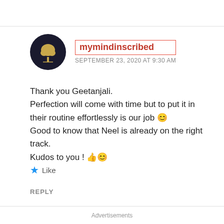mymindinscribed
SEPTEMBER 23, 2020 AT 9:30 AM
Thank you Geetanjali.
Perfection will come with time but to put it in their routine effortlessly is our job 😊
Good to know that Neel is already on the right track.
Kudos to you ! 👍😊
⭐ Like
REPLY
Advertisements